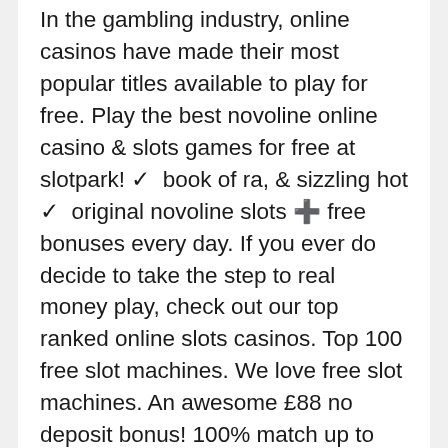In the gambling industry, online casinos have made their most popular titles available to play for free. Play the best novoline online casino & slots games for free at slotpark! ✓  book of ra, & sizzling hot ✓  original novoline slots ✛ free bonuses every day. If you ever do decide to take the step to real money play, check out our top ranked online slots casinos. Top 100 free slot machines. We love free slot machines. An awesome £88 no deposit bonus! 100% match up to £100 welcome bonus; one of the world's most trusted online casinos. Pop slots · playtika slots games · rocket speed slots · super lucky casino slots · zynga slots games. Want the excitement of